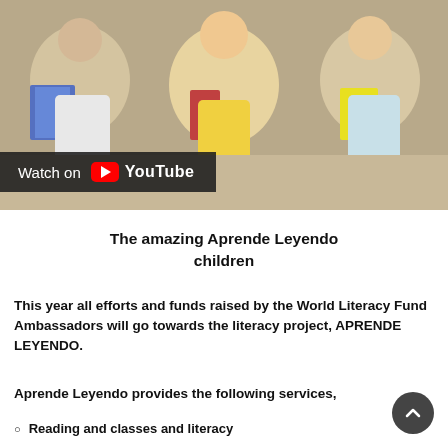[Figure (screenshot): YouTube video thumbnail showing children sitting on the floor reading books, with a 'Watch on YouTube' overlay bar at the bottom left]
The amazing Aprende Leyendo children
This year all efforts and funds raised by the World Literacy Fund Ambassadors will go towards the literacy project, APRENDE LEYENDO.
Aprende Leyendo provides the following services,
Reading and classes and literacy